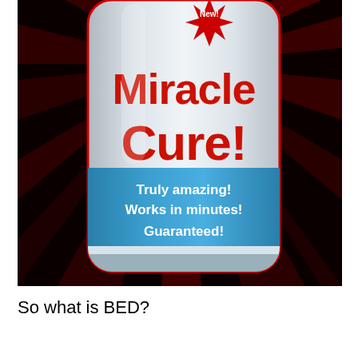[Figure (photo): A photograph of a white supplement/medicine bottle with a label. The bottle has a red starburst badge reading 'New!' at the top. In large red bold text on the white part of the bottle label it reads 'Miracle Cure!'. Below that is a blue band on the bottle with white text reading 'Truly amazing! Works in minutes! Guaranteed!'. The background is dark red/black with dramatic radial light rays.]
So what is BED?